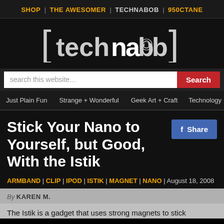SHOP | THE AWESOMER | TECHNABOB | 950CTANE
[Figure (logo): Technabob website logo in white text with brackets on dark background]
search this website...
Just Plain Fun | Strange + Wonderful | Geek Art + Craft | Technology | Video
Stick Your Nano to Yourself, but Good, With the Istik
ARMBAND | CLIP | IPOD | ISTIK | MAGNET | NANO | August 18, 2008
By KAREN M.
The Istik is a gadget that uses strong magnets to stick